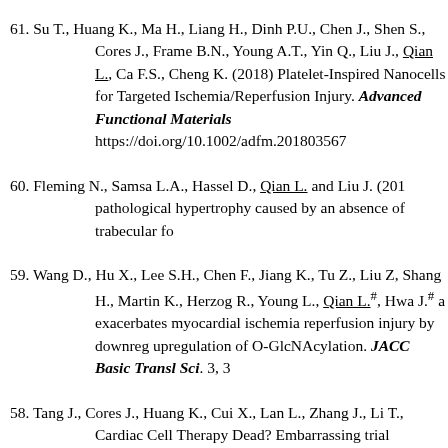61. Su T., Huang K., Ma H., Liang H., Dinh P.U., Chen J., Shen S., Cores J., Frame B.N., Young A.T., Yin Q., Liu J., Qian L., Ca F.S., Cheng K. (2018) Platelet-Inspired Nanocells for Targeted Ischemia/Reperfusion Injury. Advanced Functional Materials https://doi.org/10.1002/adfm.201803567
60. Fleming N., Samsa L.A., Hassel D., Qian L. and Liu J. (201 pathological hypertrophy caused by an absence of trabecular fo
59. Wang D., Hu X., Lee S.H., Chen F., Jiang K., Tu Z., Liu Z, Shang H., Martin K., Herzog R., Young L., Qian L.#, Hwa J.# a exacerbates myocardial ischemia reperfusion injury by downreg upregulation of O-GlcNAcylation. JACC Basic Transl Sci. 3, 3
58. Tang J., Cores J., Huang K., Cui X., Lan L., Zhang J., Li T., Cardiac Cell Therapy Dead? Embarrassing trial outcomes and n Cells Transl Med. 7(4):354-359.
57. Hadassiff A., Huang K., Hensley M.T., Cores J., T.C. S...